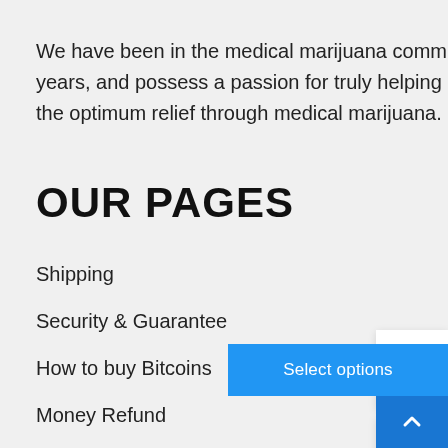We have been in the medical marijuana community for the past 5 years, and possess a passion for truly helping our patients receive the optimum relief through medical marijuana.
OUR PAGES
Shipping
Security & Guarantee
How to buy Bitcoins
Money Refund